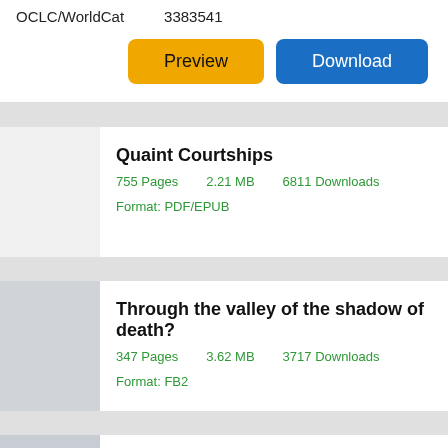OCLC/WorldCat    3383541
Preview | Download
Quaint Courtships
755 Pages    2.21 MB    6811 Downloads    Format: PDF/EPUB
Through the valley of the shadow of death?
347 Pages    3.62 MB    3717 Downloads    Format: FB2
National Trust for Jersey
185 Pages    3.82 MB    8095 Downloads    Format: FB2